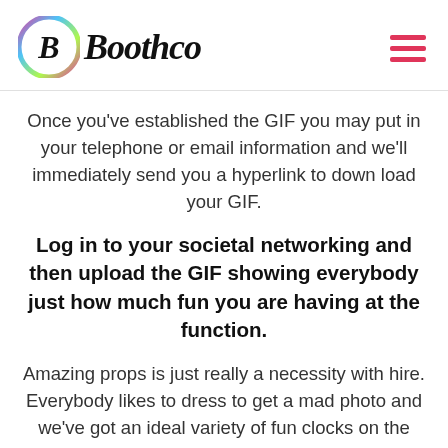[Figure (logo): Boothco logo with colorful circular icon and italic bold text 'Boothco']
Once you've established the GIF you may put in your telephone or email information and we'll immediately send you a hyperlink to down load your GIF.
Log in to your societal networking and then upload the GIF showing everybody just how much fun you are having at the function.
Amazing props is just really a necessity with hire. Everybody likes to dress to get a mad photo and we've got an ideal variety of fun clocks on the own event.